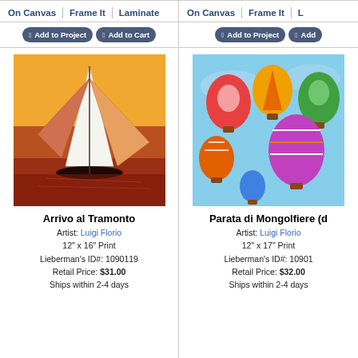[Figure (screenshot): Product listing page showing two art prints side by side with tabs (On Canvas, Frame It, Laminate), Add to Project and Add to Cart buttons, artwork images, titles, artist, size, ID, price, and shipping info.]
On Canvas | Frame It | Laminate
Add to Project | Add to Cart
[Figure (illustration): Painting of a sailboat on water at sunset, colorful sails, reflections in water — Arrivo al Tramonto by Luigi Florio]
Arrivo al Tramonto
Artist: Luigi Florio
12" x 16" Print
Lieberman's ID#: 1090119
Retail Price: $31.00
Ships within 2-4 days
On Canvas | Frame It | L
Add to Project | Add
[Figure (illustration): Painting of colorful hot air balloons in a blue sky — Parata di Mongolfiere by Luigi Florio]
Parata di Mongolfiere (d
Artist: Luigi Florio
12" x 17" Print
Lieberman's ID#: 10901
Retail Price: $32.00
Ships within 2-4 days